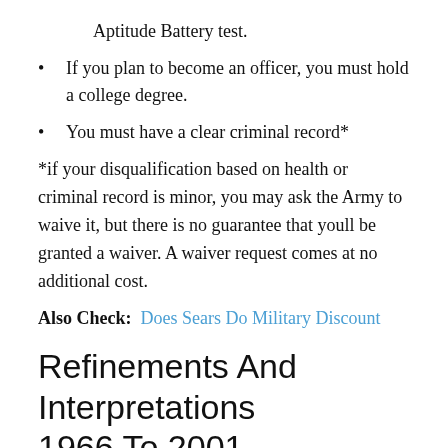Aptitude Battery test.
If you plan to become an officer, you must hold a college degree.
You must have a clear criminal record*
*if your disqualification based on health or criminal record is minor, you may ask the Army to waive it, but there is no guarantee that youll be granted a waiver. A waiver request comes at no additional cost.
Also Check:  Does Sears Do Military Discount
Refinements And Interpretations 1966 To 2001